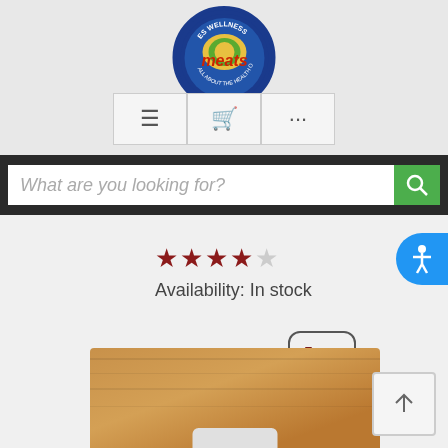[Figure (logo): ES Wellness Meats circular logo with blue border, globe/corn graphic, red italic 'meats' text]
[Figure (screenshot): Navigation bar with hamburger menu, shopping cart, and ellipsis icons in bordered cells]
What are you looking for?
[Figure (other): Four filled dark red stars and one empty star indicating product rating]
Availability: In stock
$44.65
[Figure (other): Add to cart button with shopping cart icon in rounded square border]
[Figure (photo): Partial product photo showing a jar with white lid on a wooden surface, honey-colored product]